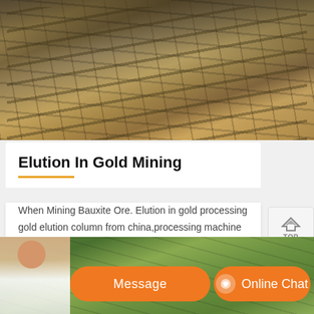[Figure (photo): Industrial mining equipment and conveyor belts at a mining site]
Elution In Gold Mining
When Mining Bauxite Ore. Elution in gold processing gold elution column from china,processing machine sale,gold at the gold ore processing plant, elution plant in gold processing gold elution plants these include elution heating systems for gold plants in ghana, 2016 hotWhich of uprajasthankarnataktamilnadu has .Do ants plants cows…
[Figure (photo): Small thumbnail of mining equipment]
[Figure (photo): Bottom banner with customer service representative, Message button, and Online Chat button]